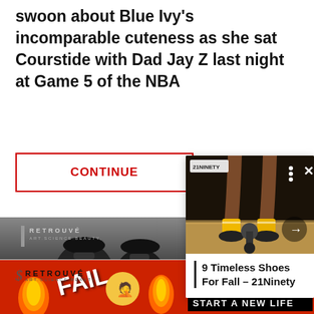swoon about Blue Ivy's incomparable cuteness as she sat Courstide with Dad Jay Z last night at Game 5 of the NBA
CONTINUE
Posted On : June 14
[Figure (screenshot): Popup card showing a photo of legs with yellow sneakers and socks, with title '9 Timeless Shoes For Fall – 21Ninety', navigation arrow, close button, and a small logo]
[Figure (photo): Photo of people at an event, partially visible at bottom of page, with brand logos including Retrouvé Art.Science.Beauty., KE, and Moito Chicago]
[Figure (advertisement): BitLife advertisement banner with red background, FAIL text, flame and facepalm emojis, BitLife logo in gold, and 'START A NEW LIFE' tagline on black background]